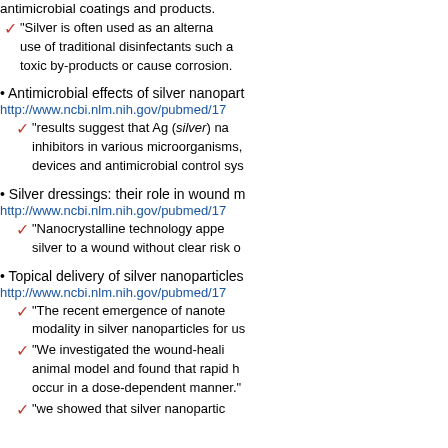antimicrobial coatings and products.
"Silver is often used as an alternative to the use of traditional disinfectants such as... toxic by-products or cause corrosion."
• Antimicrobial effects of silver nanopart... http://www.ncbi.nlm.nih.gov/pubmed/17...
"results suggest that Ag (silver) na... inhibitors in various microorganisms,... devices and antimicrobial control sys..."
• Silver dressings: their role in wound m... http://www.ncbi.nlm.nih.gov/pubmed/17...
"Nanocrystalline technology appe... silver to a wound without clear risk o..."
• Topical delivery of silver nanoparticles... http://www.ncbi.nlm.nih.gov/pubmed/17...
"The recent emergence of nanote... modality in silver nanoparticles for us..."
"We investigated the wound-heali... animal model and found that rapid h... occur in a dose-dependent manner."
"we showed that silver nanopartic..."